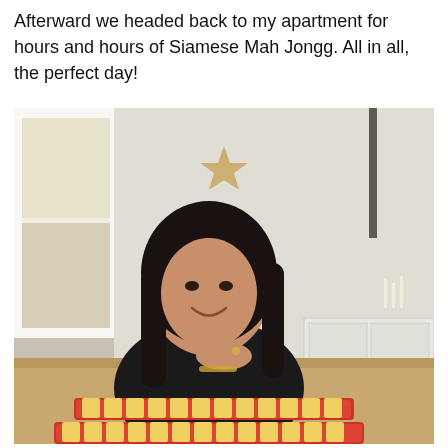Afterward we headed back to my apartment for hours and hours of Siamese Mah Jongg. All in all, the perfect day!
[Figure (photo): A smiling woman with dark hair, wearing a black top, sitting at a table with Mah Jongg tiles in the foreground. She has her chin resting on one hand with a bracelet on her wrist. The room has a window with bright light on the left, white walls, and a white cabinet with candles and decorative objects in the background.]